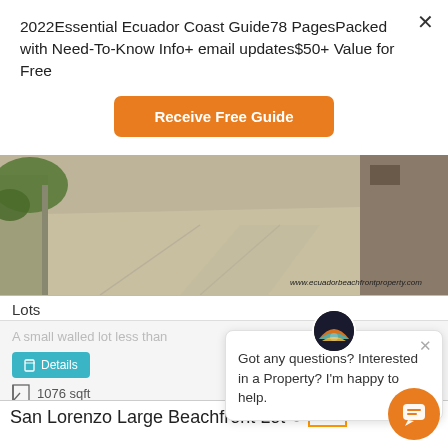2022Essential Ecuador Coast Guide78 PagesPacked with Need-To-Know Info+ email updates$50+ Value for Free
Receive Free Guide
[Figure (photo): Street-level photo of a walled concrete lot/road in Ecuador with vegetation on left side. Watermark: www.ecuadorbeachfrontproperty.com]
Lots
A small walled lot less than
Details
1076 sqft
Got any questions? Interested in a Property? I'm happy to help.
San Lorenzo Large Beachfront Lot
FEATURED